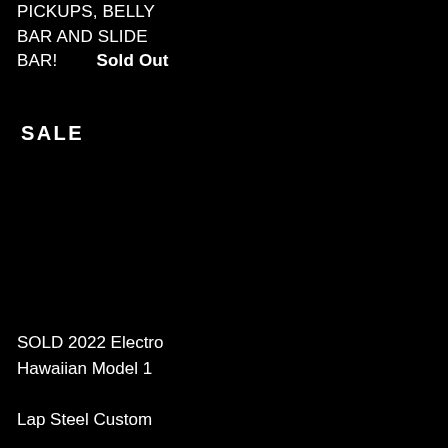PICKUPS, BELLY BAR AND SLIDE BAR!      Sold Out
SALE
SOLD 2022 Electro Hawaiian Model 1 Lap Steel Custom